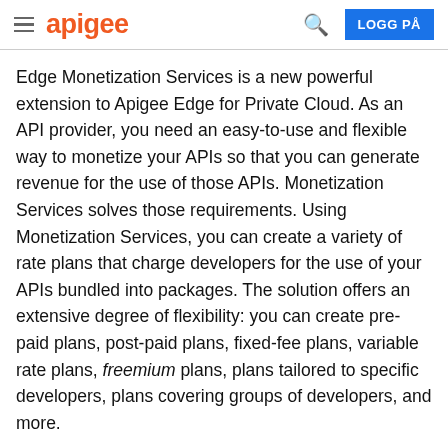apigee  LOGG PÅ
Edge Monetization Services is a new powerful extension to Apigee Edge for Private Cloud. As an API provider, you need an easy-to-use and flexible way to monetize your APIs so that you can generate revenue for the use of those APIs. Monetization Services solves those requirements. Using Monetization Services, you can create a variety of rate plans that charge developers for the use of your APIs bundled into packages. The solution offers an extensive degree of flexibility: you can create pre-paid plans, post-paid plans, fixed-fee plans, variable rate plans, freemium plans, plans tailored to specific developers, plans covering groups of developers, and more.
In addition, Monetization Services includes reporting and billing facilities. For example, as an API provider, you can get summary or detailed reports on traffic to your API packages for which developers purchased a rate plan. You